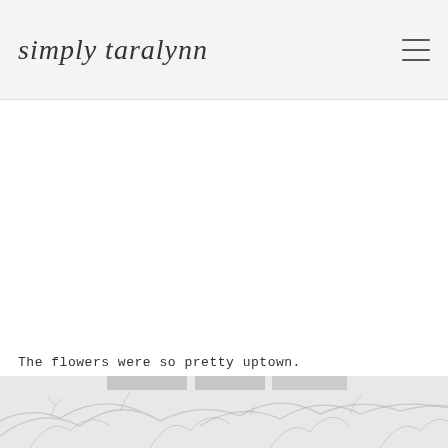simply taralynn
[Figure (other): Blank white content/advertisement area]
The flowers were so pretty uptown.
[Figure (photo): Bottom strip showing a faded black and white outdoor photo with bare tree branches and a collage-like strip of images]